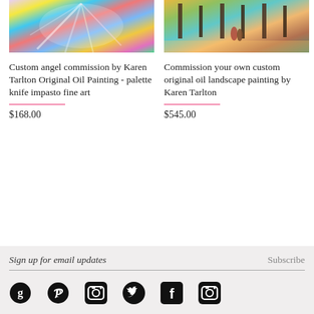[Figure (photo): Colorful palette knife impasto painting - angel with vibrant swirling colors]
Custom angel commission by Karen Tarlton Original Oil Painting - palette knife impasto fine art
$168.00
[Figure (photo): Colorful oil landscape painting showing figures walking among trees with reflections]
Commission your own custom original oil landscape painting by Karen Tarlton
$545.00
Sign up for email updates
Subscribe
[Figure (other): Social media icons: Goodreads, Pinterest, Instagram, Twitter, Facebook, Instagram]